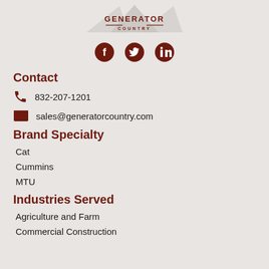[Figure (logo): Generator Country logo with mountain triangle shapes and brand text]
[Figure (other): Social media icons: Facebook, Twitter, LinkedIn in dark red/brown color]
Contact
832-207-1201
sales@generatorcountry.com
Brand Specialty
Cat
Cummins
MTU
Industries Served
Agriculture and Farm
Commercial Construction